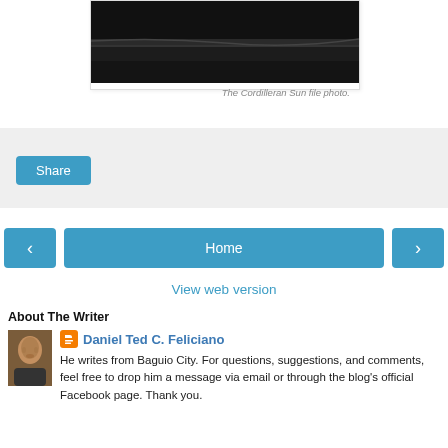[Figure (photo): Black and white landscape photo, dark tones, appears to be water or road surface]
The Cordilleran Sun file photo.
Share
‹
Home
›
View web version
About The Writer
[Figure (photo): Small portrait photo of Daniel Ted C. Feliciano]
Daniel Ted C. Feliciano
He writes from Baguio City. For questions, suggestions, and comments, feel free to drop him a message via email or through the blog's official Facebook page. Thank you.